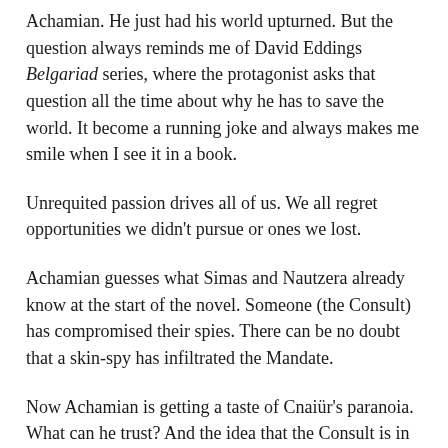Achamian. He just had his world upturned. But the question always reminds me of David Eddings Belgariad series, where the protagonist asks that question all the time about why he has to save the world. It become a running joke and always makes me smile when I see it in a book.
Unrequited passion drives all of us. We all regret opportunities we didn't pursue or ones we lost.
Achamian guesses what Simas and Nautzera already know at the start of the novel. Someone (the Consult) has compromised their spies. There can be no doubt that a skin-spy has infiltrated the Mandate.
Now Achamian is getting a taste of Cnaiür's paranoia. What can he trust? And the idea that the Consult is in control of the Three Seas is terrifying. They clearly are in favor of the Holy War. Who else have they replaced? Not Xerius, but he is never alone or they